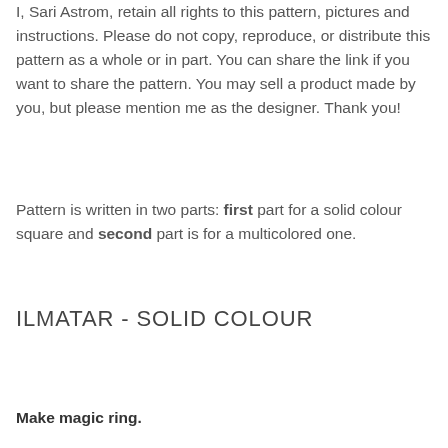I, Sari Astrom, retain all rights to this pattern, pictures and instructions. Please do not copy, reproduce, or distribute this pattern as a whole or in part. You can share the link if you want to share the pattern. You may sell a product made by you, but please mention me as the designer. Thank you!
Pattern is written in two parts: first part for a solid colour square and second part is for a multicolored one.
ILMATAR - SOLID COLOUR
Make magic ring.